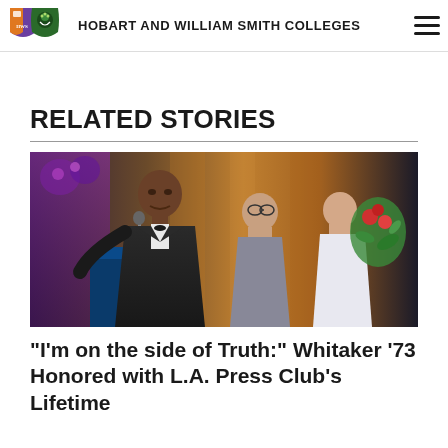HOBART AND WILLIAM SMITH COLLEGES
RELATED STORIES
[Figure (photo): A man in a tuxedo speaking at a podium on stage at an awards ceremony, with two women standing behind him, one holding a large bouquet of flowers. Stage lighting with purple and gold tones in the background.]
"I'm on the side of Truth:" Whitaker '73 Honored with L.A. Press Club's Lifetime